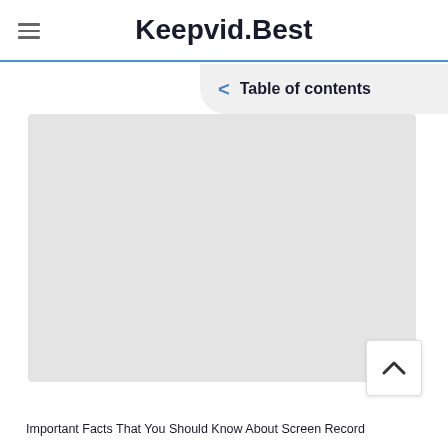≡ Keepvid.Best
< Table of contents
[Figure (other): Gray placeholder content area rectangle]
[Figure (other): Scroll-to-top button with upward caret arrow]
Important Facts That You Should Know About Screen Record